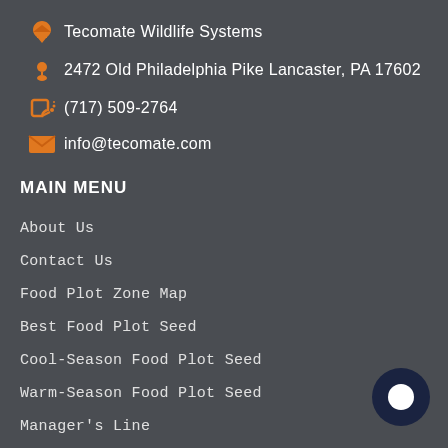Tecomate Wildlife Systems
2472 Old Philadelphia Pike Lancaster, PA 17602
(717) 509-2764
info@tecomate.com
MAIN MENU
About Us
Contact Us
Food Plot Zone Map
Best Food Plot Seed
Cool-Season Food Plot Seed
Warm-Season Food Plot Seed
Manager's Line
Tecomate TV
Blog
Refund Policy